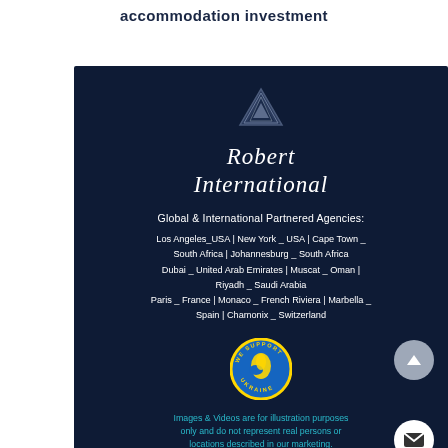accommodation investment
[Figure (logo): Robert International company logo and branding panel on dark navy background with script text, location list, Ukraine support badge, and navigation buttons]
Global & International Partnered Agencies:
Los Angeles_USA | New York _ USA | Cape Town _ South Africa | Johannesburg _ South Africa Dubai _ United Arab Emirates | Muscat _ Oman | Riyadh _ Saudi Arabia Paris _ France | Monaco _ French Riviera | Marbella _ Spain | Chamonix _ Switzerland
Images & Videos are for illustration purposes only and do not represent real persons or locations described in our marketing.